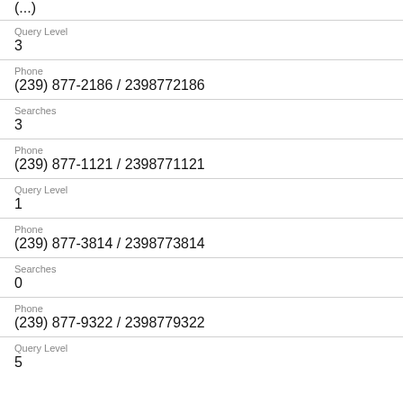(...)
Query Level
3
Phone
(239) 877-2186 / 2398772186
Searches
3
Phone
(239) 877-1121 / 2398771121
Query Level
1
Phone
(239) 877-3814 / 2398773814
Searches
0
Phone
(239) 877-9322 / 2398779322
Query Level
5